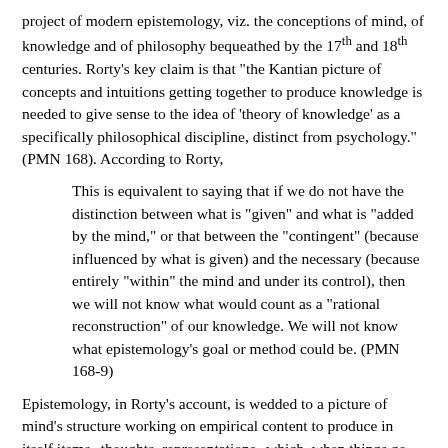project of modern epistemology, viz. the conceptions of mind, of knowledge and of philosophy bequeathed by the 17th and 18th centuries. Rorty's key claim is that "the Kantian picture of concepts and intuitions getting together to produce knowledge is needed to give sense to the idea of 'theory of knowledge' as a specifically philosophical discipline, distinct from psychology." (PMN 168). According to Rorty,
This is equivalent to saying that if we do not have the distinction between what is "given" and what is "added by the mind," or that between the "contingent" (because influenced by what is given) and the necessary (because entirely "within" the mind and under its control), then we will not know what would count as a "rational reconstruction" of our knowledge. We will not know what epistemology's goal or method could be. (PMN 168-9)
Epistemology, in Rorty's account, is wedded to a picture of mind's structure working on empirical content to produce in itself items--thoughts, representations--which, when things go well, correctly mirror reality. To loosen the grip of this picture on our thinking is to challenge the idea that epistemology--whether traditional Cartesian or 20th century linguistic--is the essence of philosophy. To this end, Rorty combines a reading of Quine's attack on a